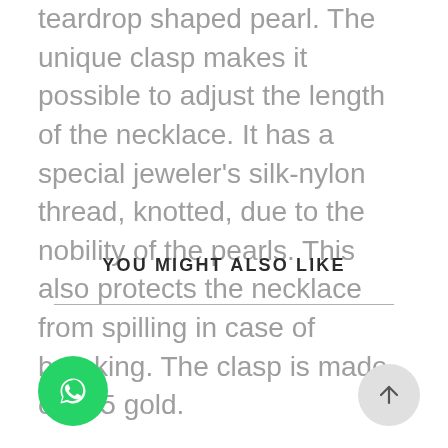teardrop shaped pearl. The unique clasp makes it possible to adjust the length of the necklace. It has a special jeweler's silk-nylon thread, knotted, due to the nobility of the pearls. This also protects the necklace from spilling in case of breaking. The clasp is made of 585 gold.
YOU MIGHT ALSO LIKE
[Figure (other): WhatsApp chat button (green circle with phone/speech bubble icon)]
[Figure (other): Scroll to top button (light grey circle with upward arrow)]